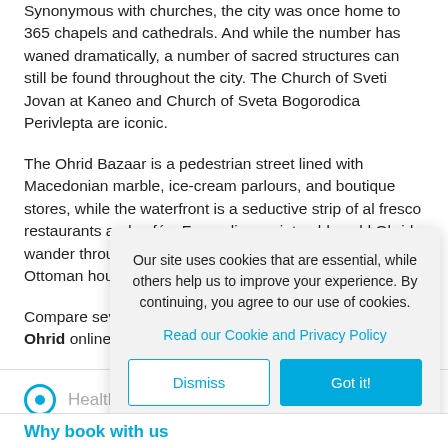Synonymous with churches, the city was once home to 365 chapels and cathedrals. And while the number has waned dramatically, a number of sacred structures can still be found throughout the city. The Church of Sveti Jovan at Kaneo and Church of Sveta Bogorodica Perivlepta are iconic.
The Ohrid Bazaar is a pedestrian street lined with Macedonian marble, ice-cream parlours, and boutique stores, while the waterfront is a seductive strip of al fresco restaurants and cafés. For a glimpse into old world Ohrid, wander through Old Town, a charming tapestry of Ottoman houses and cobbled streets.
Compare several airlines and book your cheap flights to Ohrid online at Travelstart!
Health &
Our site uses cookies that are essential, while others help us to improve your experience. By continuing, you agree to our use of cookies.
Read our Cookie and Privacy Policy
Dismiss
Got it!
Why book with us